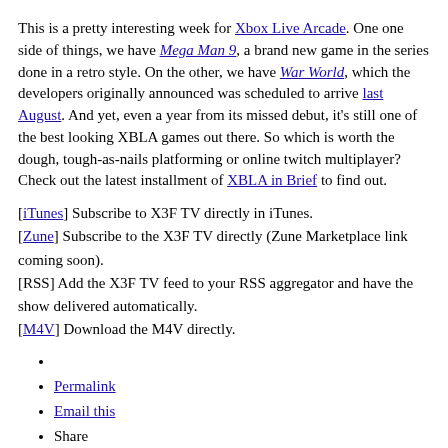This is a pretty interesting week for Xbox Live Arcade. One one side of things, we have Mega Man 9, a brand new game in the series done in a retro style. On the other, we have War World, which the developers originally announced was scheduled to arrive last August. And yet, even a year from its missed debut, it's still one of the best looking XBLA games out there. So which is worth the dough, tough-as-nails platforming or online twitch multiplayer? Check out the latest installment of XBLA in Brief to find out.
[iTunes] Subscribe to X3F TV directly in iTunes.
[Zune] Subscribe to the X3F TV directly (Zune Marketplace link coming soon).
[RSS] Add the X3F TV feed to your RSS aggregator and have the show delivered automatically.
[M4V] Download the M4V directly.
Permalink
Email this
Share
Comments [13]